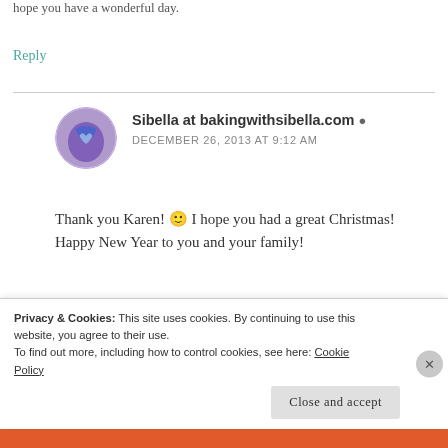hope you have a wonderful day.
Reply
Sibella at bakingwithsibella.com
DECEMBER 26, 2013 AT 9:12 AM
Thank you Karen! 🙂 I hope you had a great Christmas! Happy New Year to you and your family!
Reply
Privacy & Cookies: This site uses cookies. By continuing to use this website, you agree to their use.
To find out more, including how to control cookies, see here: Cookie Policy
Close and accept